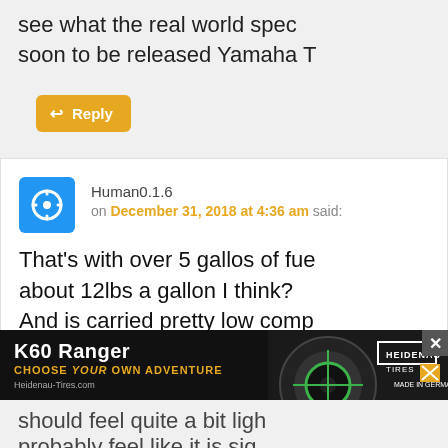see what the real world specs soon to be released Yamaha T
Reply
Human0.1.6 on December 31, 2018 at 4:36 am said:
That's with over 5 gallos of fue about 12lbs a gallon I think? And is carried pretty low comp
[Figure (screenshot): K60 Ranger advertisement banner: black background with 'K60 Ranger CHOOSE YOUR OWN ADVENTURE' text in white and gold, Heidenau Tires logo, tire image, and close button]
should feel quite a bit ligh probably feel like it is sig